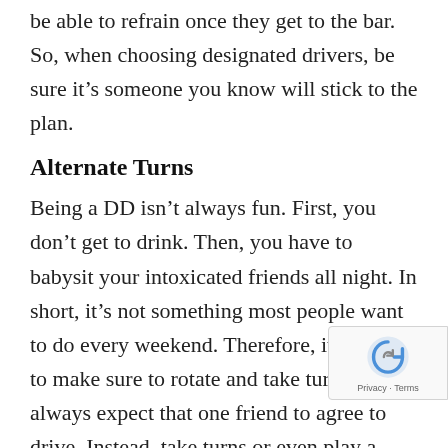be able to refrain once they get to the bar. So, when choosing designated drivers, be sure it's someone you know will stick to the plan.
Alternate Turns
Being a DD isn't always fun. First, you don't get to drink. Then, you have to babysit your intoxicated friends all night. In short, it's not something most people want to do every weekend. Therefore, it's good to make sure to rotate and take turns. Don't always expect that one friend to agree to drive. Instead, take turns or even play a game to decide who should drive. By doing this, friends may not feel as reluctant when it's their turn to drive. Then, take your turn next! The sooner you fulfill this role, the sooner you get to be on the other side of it!